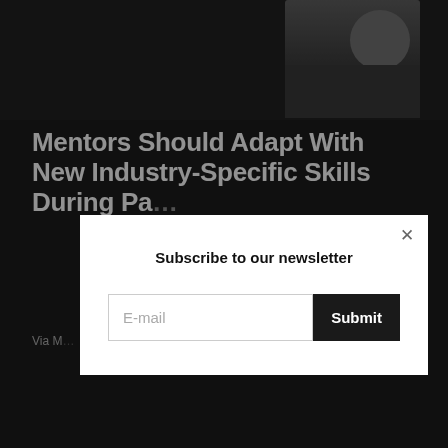[Figure (photo): Hero image showing a person in dark clothing against a dark background]
Mentors Should Adapt With New Industry-Specific Skills During Pa…
Via M…
[Figure (screenshot): Newsletter subscription modal overlay with email input and Submit button]
COVID-19 to Accelerate Female Entrepreneurship
September 10, 2020
Germany Voted Best Crisis Manager by…